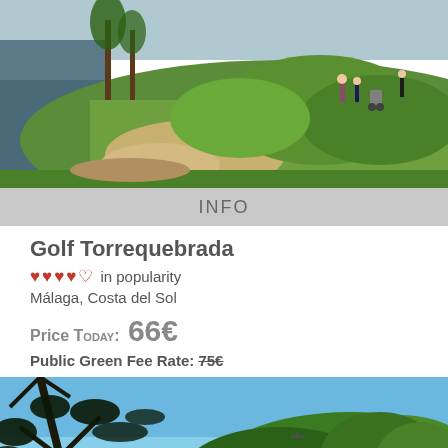[Figure (photo): Golf course photo showing green fairway with sand bunker, water, and golfers on a sunny day]
INFO
Golf Torrequebrada
♥♥♥♥♡ in popularity
Málaga, Costa del Sol
Price TODAY: 66€
Public Green Fee Rate: 75€
[Figure (photo): Golf course photo showing trees with dark foliage against blue sky, lush greenery]